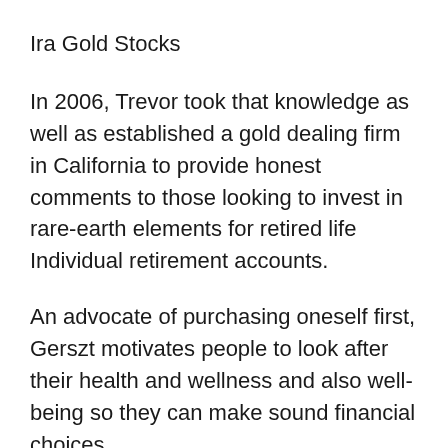Ira Gold Stocks
In 2006, Trevor took that knowledge as well as established a gold dealing firm in California to provide honest comments to those looking to invest in rare-earth elements for retired life Individual retirement accounts.
An advocate of purchasing oneself first, Gerszt motivates people to look after their health and wellness and also well-being so they can make sound financial choices.
He likewise stands firm on the belief that it's crucial to expand money as well as hedge savings throughout different investment